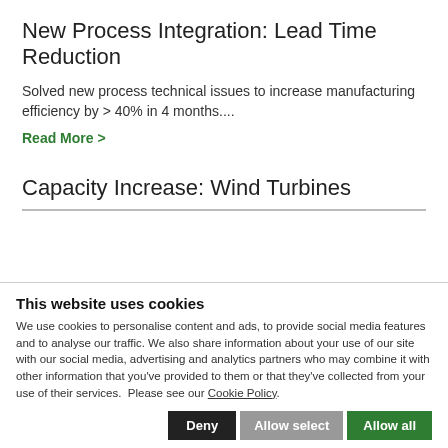New Process Integration: Lead Time Reduction
Solved new process technical issues to increase manufacturing efficiency by > 40% in 4 months....
Read More >
Capacity Increase: Wind Turbines
This website uses cookies
We use cookies to personalise content and ads, to provide social media features and to analyse our traffic. We also share information about your use of our site with our social media, advertising and analytics partners who may combine it with other information that you've provided to them or that they've collected from your use of their services.  Please see our Cookie Policy.
Deny | Allow select | Allow all
Necessary | Preferences | Statistics | Marketing | Show details